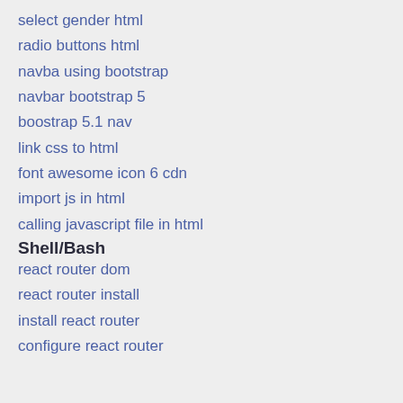select gender html
radio buttons html
navba using bootstrap
navbar bootstrap 5
boostrap 5.1 nav
link css to html
font awesome icon 6 cdn
import js in html
calling javascript file in html
Shell/Bash
react router dom
react router install
install react router
configure react router